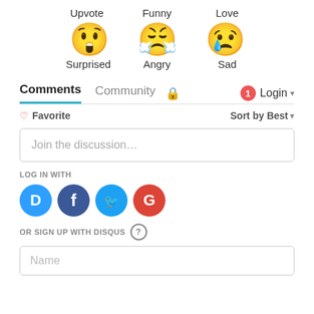[Figure (infographic): Three emoji reaction labels at top: Upvote, Funny, Love (cut off at top). Below: three emoji faces for Surprised (😲), Angry (😤), and Sad (😢) with their labels underneath.]
Comments  Community  🔒  1  Login
♡ Favorite   Sort by Best ▾
Join the discussion...
LOG IN WITH
[Figure (infographic): Social login icons: Disqus (blue D), Facebook (dark blue f), Twitter (light blue bird), Google (red G)]
OR SIGN UP WITH DISQUS ?
Name